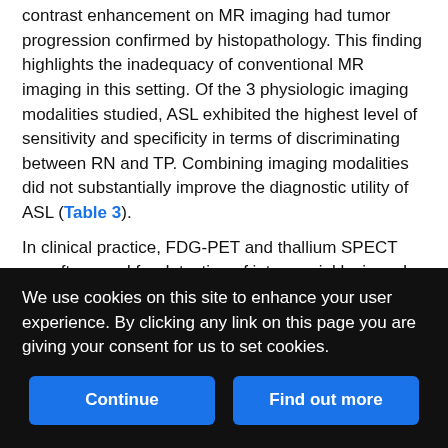contrast enhancement on MR imaging had tumor progression confirmed by histopathology. This finding highlights the inadequacy of conventional MR imaging in this setting. Of the 3 physiologic imaging modalities studied, ASL exhibited the highest level of sensitivity and specificity in terms of discriminating between RN and TP. Combining imaging modalities did not substantially improve the diagnostic utility of ASL (Table 3).
In clinical practice, FDG-PET and thallium SPECT are often used for detection of intracranial lesions. In prior studies, the sensitivity and specificity of FDG-PET for discriminating TP and RN for primary gliomas ranged from 77% to 81% and 63% to 90%, respectively.18↓–20 Sensitivity and specificity for brain metastases were 86% and 80%.18 These results are largely in line with those observed in this
We use cookies on this site to enhance your user experience. By clicking any link on this page you are giving your consent for us to set cookies.